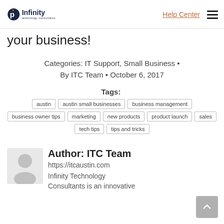Infinity Technology Consultants | Help Center
your business!
Categories: IT Support, Small Business • By ITC Team • October 6, 2017
Tags: austin  austin small businesses  business management  business owner tips  marketing  new products  product launch  sales  tech tips  tips and tricks
Author: ITC Team
https://itcaustin.com
Infinity Technology Consultants is an innovative